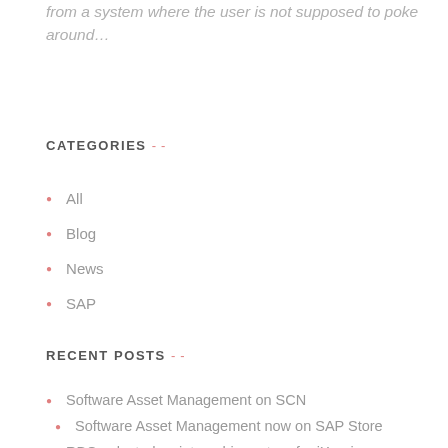from a system where the user is not supposed to poke around…
CATEGORIES --
All
Blog
News
SAP
RECENT POSTS --
Software Asset Management on SCN
Software Asset Management now on SAP Store
RBG selected as internship partner for iXperience